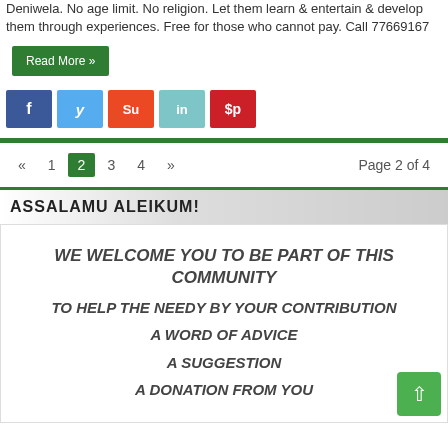Deniwela. No age limit. No religion. Let them learn & entertain & develop them through experiences. Free for those who cannot pay. Call 77669167
Read More »
[Figure (other): Social sharing buttons: Facebook, Twitter, StumbleUpon, LinkedIn, Pinterest]
« 1 2 3 4 » Page 2 of 4
ASSALAMU ALEIKUM!
WE WELCOME YOU TO BE PART OF THIS COMMUNITY
TO HELP THE NEEDY BY YOUR CONTRIBUTION
A WORD OF ADVICE
A SUGGESTION
A DONATION FROM YOU